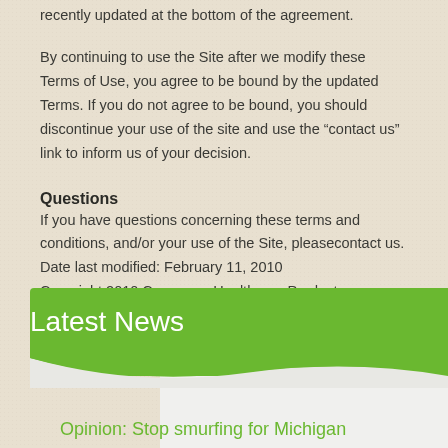recently updated at the bottom of the agreement.
By continuing to use the Site after we modify these Terms of Use, you agree to be bound by the updated Terms. If you do not agree to be bound, you should discontinue your use of the site and use the “contact us” link to inform us of your decision.
Questions
If you have questions concerning these terms and conditions, and/or your use of the Site, pleasecontact us.
Date last modified: February 11, 2010
Copyright 2010 Consumer Healthcare Products Association. All rights reserved.
Latest News
Opinion: Stop smurfing for Michigan